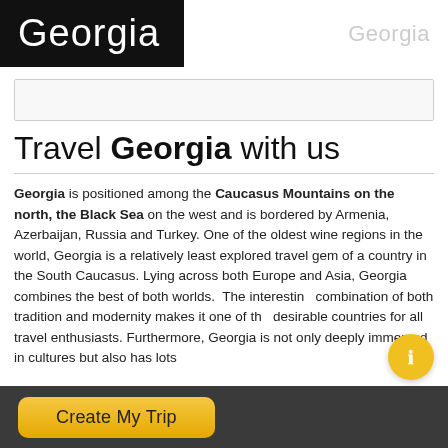Georgia
Travel Georgia with us
Georgia is positioned among the Caucasus Mountains on the north, the Black Sea on the west and is bordered by Armenia, Azerbaijan, Russia and Turkey. One of the oldest wine regions in the world, Georgia is a relatively least explored travel gem of a country in the South Caucasus. Lying across both Europe and Asia, Georgia combines the best of both worlds. The interesting combination of both tradition and modernity makes it one of the desirable countries for all travel enthusiasts. Furthermore, Georgia is not only deeply immersed in cultures but also has lots
Create My Trip